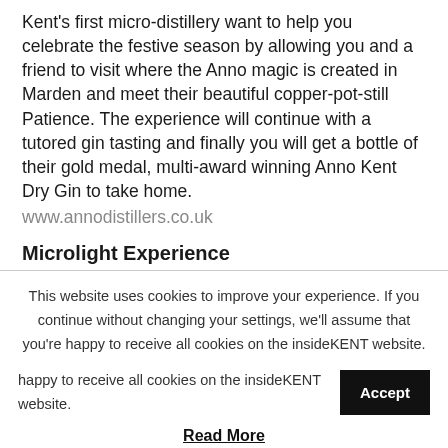Kent's first micro-distillery want to help you celebrate the festive season by allowing you and a friend to visit where the Anno magic is created in Marden and meet their beautiful copper-pot-still Patience. The experience will continue with a tutored gin tasting and finally you will get a bottle of their gold medal, multi-award winning Anno Kent Dry Gin to take home.
www.annodistillers.co.uk
Microlight Experience
Prize value: £59
For the real thrill seekers, joining one of the bonus...
This website uses cookies to improve your experience. If you continue without changing your settings, we'll assume that you're happy to receive all cookies on the insideKENT website.
Accept
Read More